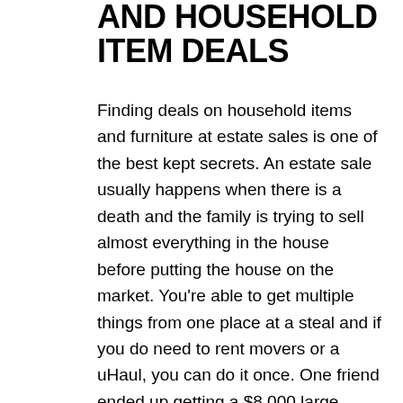AND HOUSEHOLD ITEM DEALS
Finding deals on household items and furniture at estate sales is one of the best kept secrets. An estate sale usually happens when there is a death and the family is trying to sell almost everything in the house before putting the house on the market. You're able to get multiple things from one place at a steal and if you do need to rent movers or a uHaul, you can do it once. One friend ended up getting a $8,000 large dining room set in excellent condition for under $1,000. When she moved out (it didn't fit in her next place) she ended up selling it and made a profit!
You may end up spending the same money you would have for something brand new at Ikea but